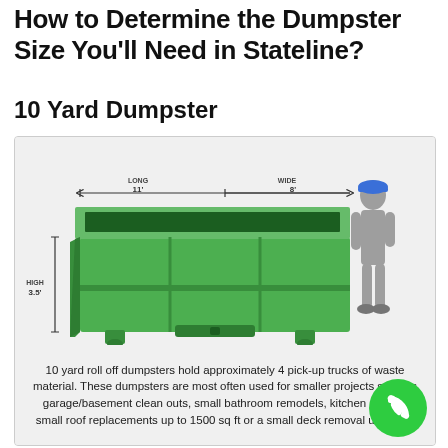How to Determine the Dumpster Size You'll Need in Stateline?
10 Yard Dumpster
[Figure (illustration): Illustration of a green 10-yard roll-off dumpster with dimension annotations: LONG 11', WIDE 8', HIGH 3.5'. A human silhouette stands to the right for scale.]
10 yard roll off dumpsters hold approximately 4 pick-up trucks of waste material. These dumpsters are most often used for smaller projects such as garage/basement clean outs, small bathroom remodels, kitchen remo… small roof replacements up to 1500 sq ft or a small deck removal u… sq ft.